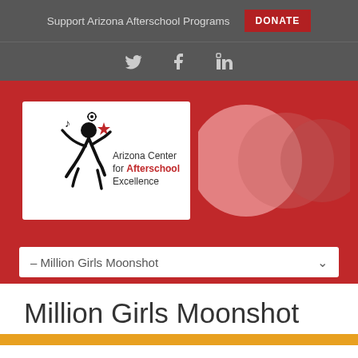Support Arizona Afterschool Programs  DONATE
[Figure (logo): Social media icons: Twitter (bird), Facebook (f), LinkedIn (in)]
[Figure (logo): Arizona Center for Afterschool Excellence logo on white card with overlapping circles on red background]
– Million Girls Moonshot
Million Girls Moonshot
[Figure (other): Orange bar at bottom of page]